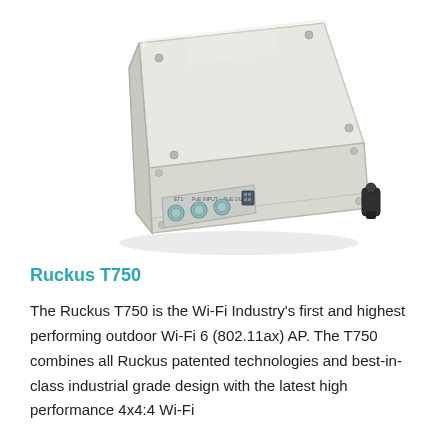[Figure (photo): Photo of the Ruckus T750 outdoor Wi-Fi access point — a white rectangular ruggedized enclosure with rounded corners, viewed from a perspective angle, showing the front panel with multiple circular gland connectors and a fiber port, and several screws visible on the top and sides.]
Ruckus T750
The Ruckus T750 is the Wi-Fi Industry's first and highest performing outdoor Wi-Fi 6 (802.11ax) AP. The T750 combines all Ruckus patented technologies and best-in-class industrial grade design with the latest high performance 4x4:4 Wi-Fi